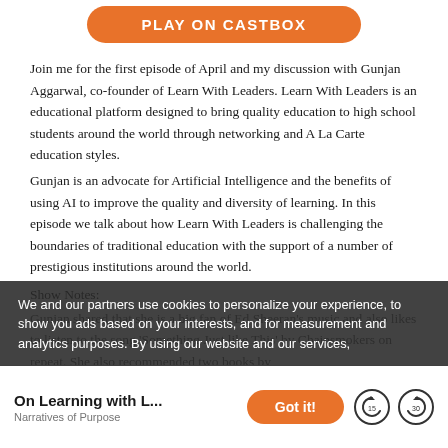[Figure (other): Orange rounded button labeled PLAY ON CASTBOX]
Join me for the first episode of April and my discussion with Gunjan Aggarwal, co-founder of Learn With Leaders. Learn With Leaders is an educational platform designed to bring quality education to high school students around the world through networking and A La Carte education styles.
Gunjan is an advocate for Artificial Intelligence and the benefits of using AI to improve the quality and diversity of learning. In this episode we talk about how Learn With Leaders is challenging the boundaries of traditional education with the support of a number of prestigious institutions around the world.
Show Notes:
Gunjan shared that she is a big fan of Ed Sheeran's music and also likes to listen to the song 'Something Just like This' by Chainsmokers on repeat. She also recommended two books by
We and our partners use cookies to personalize your experience, to show you ads based on your interests, and for measurement and analytics purposes. By using our website and our services,
On Learning with L...
Narratives of Purpose
[Figure (other): Orange rounded Got it! button]
[Figure (other): Replay 15 seconds circular button]
[Figure (other): Forward 30 seconds circular button]